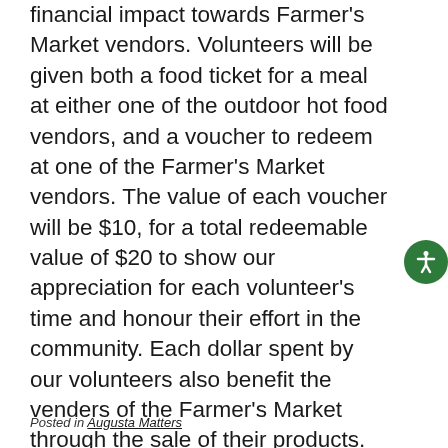financial impact towards Farmer's Market vendors. Volunteers will be given both a food ticket for a meal at either one of the outdoor hot food vendors, and a voucher to redeem at one of the Farmer's Market vendors. The value of each voucher will be $10, for a total redeemable value of $20 to show our appreciation for each volunteer's time and honour their effort in the community. Each dollar spent by our volunteers also benefit the venders of the Farmer's Market through the sale of their products. Estimated total volunteer vouchers is $1400.00, which means that $1400.00 is also cycled back into the market.
Posted in Augusta Matters